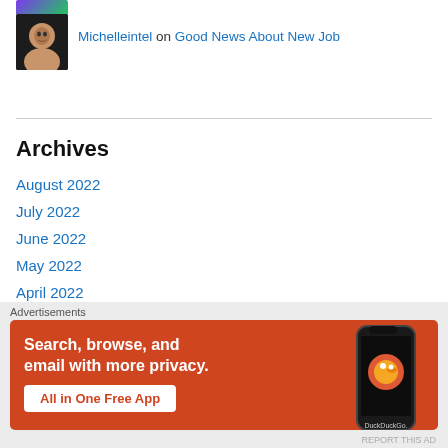[Figure (photo): Partial view of a purple/green avatar image at the top]
Michelleintel on Good News About New Job
[Figure (photo): Profile photo of a woman with dark hair in a black outfit against a dark background]
Archives
August 2022
July 2022
June 2022
May 2022
April 2022
March 2022
February 2022
Advertisements
[Figure (illustration): DuckDuckGo advertisement banner with orange background. Text: Search, browse, and email with more privacy. All in One Free App. Shows a smartphone with DuckDuckGo logo.]